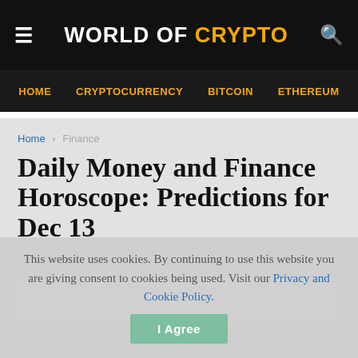WORLD OF CRYPTO
HOME  CRYPTOCURRENCY  BITCOIN  ETHEREUM
Home > Finance
Daily Money and Finance Horoscope: Predictions for Dec 13
12/12/2021
This website uses cookies. By continuing to use this website you are giving consent to cookies being used. Visit our Privacy and Cookie Policy.
I Agree